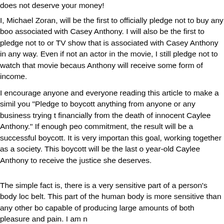does not deserve your money!
I, Michael Zoran, will be the first to officially pledge not to buy any book associated with Casey Anthony. I will also be the first to pledge not to or TV show that is associated with Casey Anthony in any way. Even if not an actor in the movie, I still pledge not to watch that movie because Anthony will receive some form of income.
I encourage anyone and everyone reading this article to make a similar you "Pledge to boycott anything from anyone or any business trying to financially from the death of innocent Caylee Anthony." If enough people commitment, the result will be a successful boycott. It is very important this goal, working together as a society. This boycott will be the last chance year-old Caylee Anthony to receive the justice she deserves.
The simple fact is, there is a very sensitive part of a person's body located belt. This part of the human body is more sensitive than any other body capable of producing large amounts of both pleasure and pain. I am